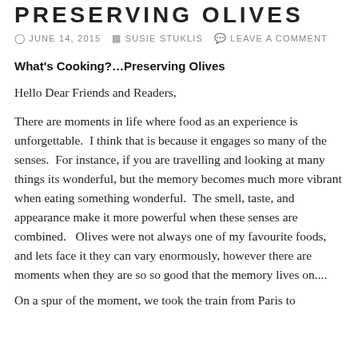PRESERVING OLIVES
JUNE 14, 2015  SUSIE STUKLIS  LEAVE A COMMENT
What's Cooking?…Preserving Olives
Hello Dear Friends and Readers,
There are moments in life where food as an experience is unforgettable.  I think that is because it engages so many of the senses.  For instance, if you are travelling and looking at many things its wonderful, but the memory becomes much more vibrant when eating something wonderful.  The smell, taste, and appearance make it more powerful when these senses are combined.   Olives were not always one of my favourite foods, and lets face it they can vary enormously, however there are moments when they are so so good that the memory lives on....
On a spur of the moment, we took the train from Paris to